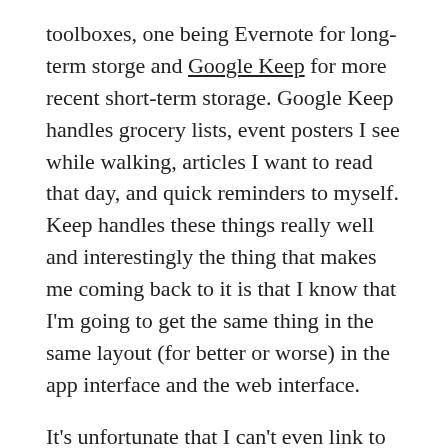toolboxes, one being Evernote for long-term storge and Google Keep for more recent short-term storage. Google Keep handles grocery lists, event posters I see while walking, articles I want to read that day, and quick reminders to myself. Keep handles these things really well and interestingly the thing that makes me coming back to it is that I know that I'm going to get the same thing in the same layout (for better or worse) in the app interface and the web interface.
It's unfortunate that I can't even link to the Google Keep homepage which would overview its features and use cases, since it doesn't even have one. It is a low key Google tool that I hope doesn't suffer the same fate as Google Reader.